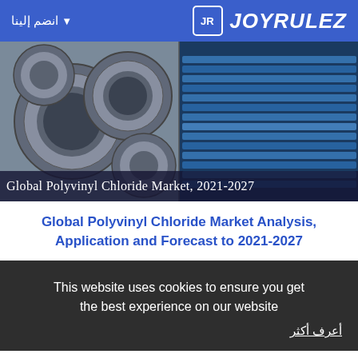انضم إلينا ▾    JOYRULEZ
[Figure (photo): Photo of large industrial PVC/plastic pipes, left side shows grey circular pipes stacked, right side shows blue corrugated rolled pipe. Overlay text: Global Polyvinyl Chloride Market, 2021-2027]
Global Polyvinyl Chloride Market Analysis, Application and Forecast to 2021-2027
This website uses cookies to ensure you get the best experience on our website
أعرف أكثر
يقات
فهمتك!
شارك الرد